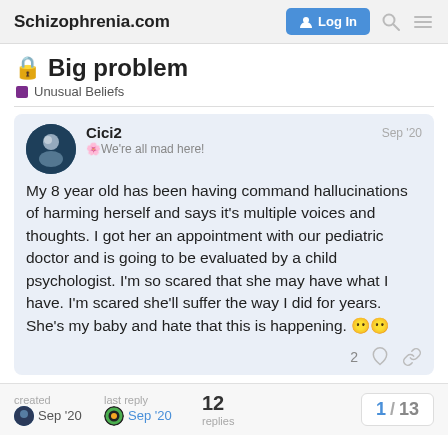Schizophrenia.com  Log In
🔒 Big problem
Unusual Beliefs
Cici2  Sep '20
🌸We're all mad here!
My 8 year old has been having command hallucinations of harming herself and says it's multiple voices and thoughts. I got her an appointment with our pediatric doctor and is going to be evaluated by a child psychologist. I'm so scared that she may have what I have. I'm scared she'll suffer the way I did for years. She's my baby and hate that this is happening. 😶😶
created  Sep '20
last reply  Sep '20
12 replies
1 / 13